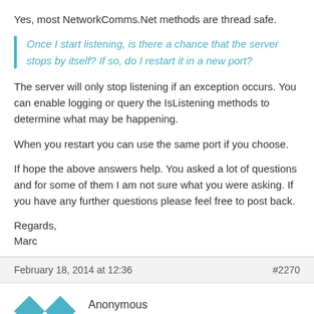Yes, most NetworkComms.Net methods are thread safe.
Once I start listening, is there a chance that the server stops by itself? If so, do I restart it in a new port?
The server will only stop listening if an exception occurs. You can enable logging or query the IsListening methods to determine what may be happening.
When you restart you can use the same port if you choose.
If hope the above answers help. You asked a lot of questions and for some of them I am not sure what you were asking. If you have any further questions please feel free to post back.
Regards,
Marc
February 18, 2014 at 12:36   #2270
Anonymous
Inactive